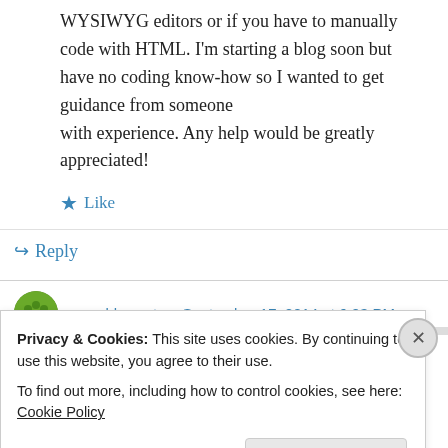WYSIWYG editors or if you have to manually code with HTML. I'm starting a blog soon but have no coding know-how so I wanted to get guidance from someone with experience. Any help would be greatly appreciated!
★ Like
↳ Reply
on gold coast on September 17, 2014 at 6:03 PM
Privacy & Cookies: This site uses cookies. By continuing to use this website, you agree to their use. To find out more, including how to control cookies, see here: Cookie Policy
Close and accept